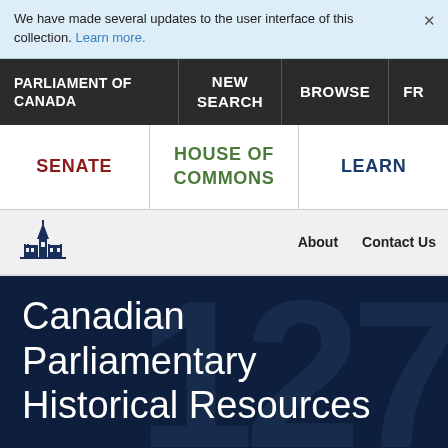We have made several updates to the user interface of this collection. Learn more.
PARLIAMENT OF CANADA | NEW SEARCH | BROWSE | FR
SENATE | HOUSE OF COMMONS | LEARN
About | Contact Us
Canadian Parliamentary Historical Resources